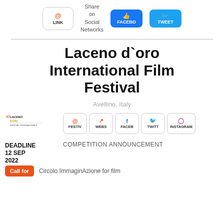[Figure (screenshot): Top bar with LINK button, Share on Social Networks label, FACEBOOK button, TWEET button]
Laceno d`oro International Film Festival
Avellino, Italy
[Figure (logo): 47 Laceno d'Oro festival logo]
[Figure (screenshot): Row of icon buttons: FESTIV, WEBS, FACEB, TWITT, INSTAGRAM]
DEADLINE 12 SEP 2022
COMPETITION ANNOUNCEMENT
Call for
Circolo ImmaginAzione for film